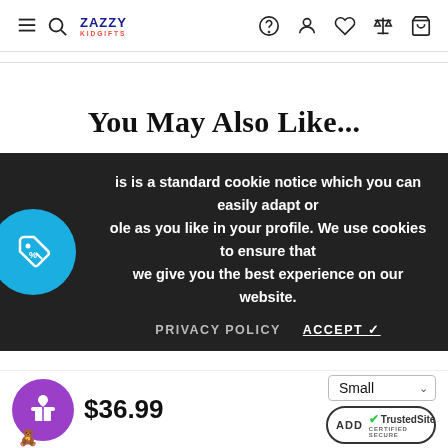Zazzy Kids — navigation header with search, account, wishlist, compare, and cart icons
You May Also Like...
is is a standard cookie notice which you can easily adapt or ole as you like in your profile. We use cookies to ensure that we give you the best experience on our website.
PRIVACY POLICY   ACCEPT ✓
$36.99
Small  ADD TrustedSite CERTIFIED SECURE